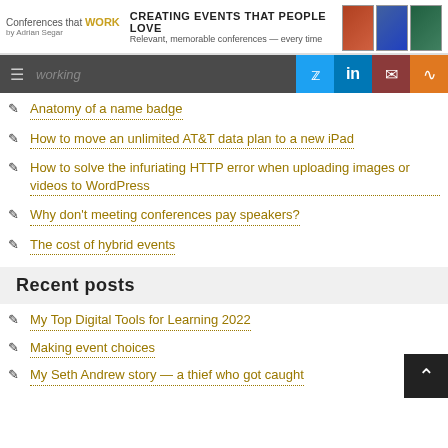Conferences that WORK CREATING EVENTS THAT PEOPLE LOVE by Adrian Segar — Relevant, memorable conferences — every time
Anatomy of a name badge
How to move an unlimited AT&T data plan to a new iPad
How to solve the infuriating HTTP error when uploading images or videos to WordPress
Why don't meeting conferences pay speakers?
The cost of hybrid events
Recent posts
My Top Digital Tools for Learning 2022
Making event choices
My Seth Andrew story — a thief who got caught